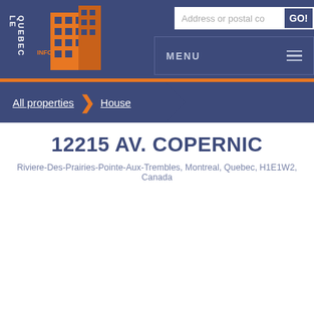[Figure (logo): Le Quebec Info logo with orange building illustration and white text reading LE QUEBEC INFO]
Address or postal co
GO!
MENU
All properties
House
12215 AV. COPERNIC
Riviere-Des-Prairies-Pointe-Aux-Trembles, Montreal, Quebec, H1E1W2, Canada